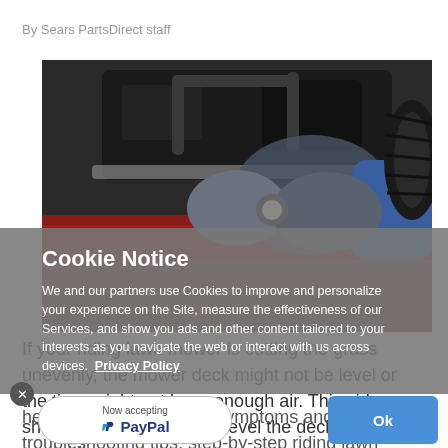By Sears PartsDirect staff
[Figure (photo): A mechanic wearing blue jacket and grey gloves using a wrench to work on the underside of a red riding lawn mower. The black mower deck and wheel are visible.]
Cookie Notice

We and our partners use Cookies to improve and personalize your experience on the Site, measure the effectiveness of our Services, and show you ads and other content tailored to your interests as you navigate the web or interact with us across devices. Privacy Policy
If your riding lawn mower is cutting the grass unevenly, the mower deck might not be level or the tires might not have enough air. This video shows how to adjust and level the deck height of your riding mower.
help, including common symptoms and troubleshooting tips, step-by-step riding lawn mower and